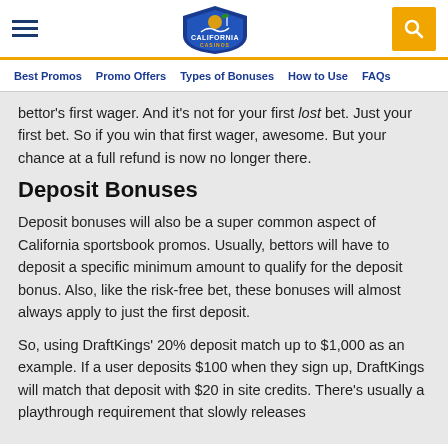California Casinos
Best Promos | Promo Offers | Types of Bonuses | How to Use | FAQs
bettor's first wager. And it's not for your first lost bet. Just your first bet. So if you win that first wager, awesome. But your chance at a full refund is now no longer there.
Deposit Bonuses
Deposit bonuses will also be a super common aspect of California sportsbook promos. Usually, bettors will have to deposit a specific minimum amount to qualify for the deposit bonus. Also, like the risk-free bet, these bonuses will almost always apply to just the first deposit.
So, using DraftKings' 20% deposit match up to $1,000 as an example. If a user deposits $100 when they sign up, DraftKings will match that deposit with $20 in site credits. There's usually a playthrough requirement that slowly releases